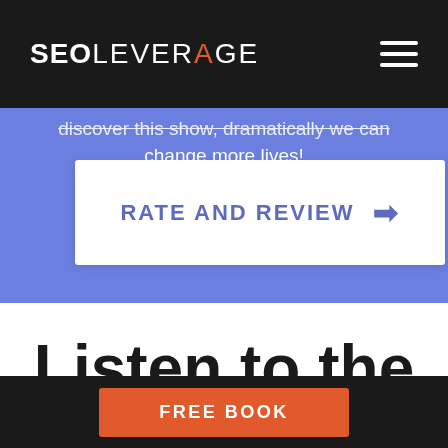SEOLEVERAGE
discover this show, dramatically we can change more lives!
RATE AND REVIEW →
Listen to the
FREE BOOK